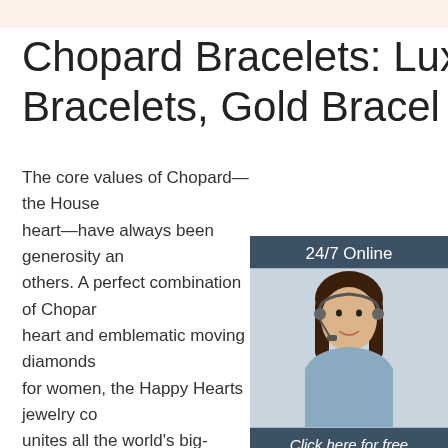Chopard Bracelets: Luxury Bracelets, Gold Bracel
[Figure (infographic): Customer service representative with headset, sidebar with 24/7 Online label, Click here for free chat text, and QUOTATION orange button on dark blue-grey background]
The core values of Chopard—the House heart—have always been generosity an others. A perfect combination of Chopar heart and emblematic moving diamonds for women, the Happy Hearts jewelry co unites all the world's big-hearted wome
[Figure (other): Get Price orange button]
[Figure (logo): TOP navigation icon with orange dots forming an upward arrow and text TOP in orange]